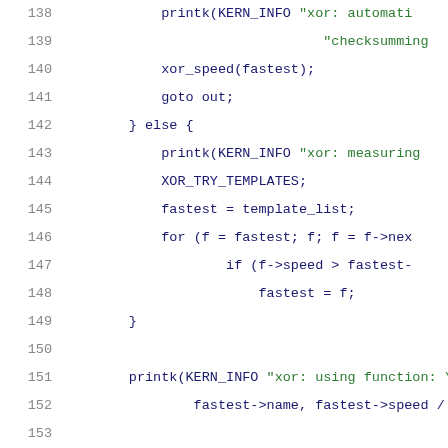[Figure (screenshot): Source code listing lines 138-159, showing C kernel code with syntax highlighting. Line numbers in gray on left, keywords/identifiers in dark blue, string literals in green.]